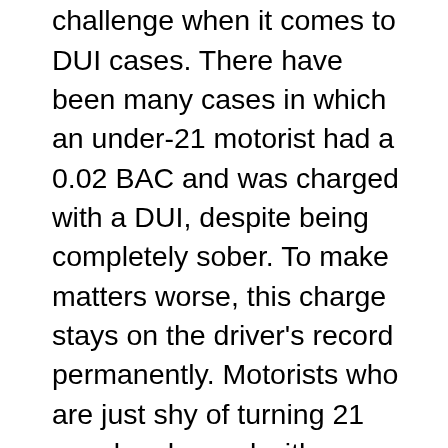and driving, it presents a challenge when it comes to DUI cases. There have been many cases in which an under-21 motorist had a 0.02 BAC and was charged with a DUI, despite being completely sober. To make matters worse, this charge stays on the driver's record permanently. Motorists who are just shy of turning 21 may be charged with a violation that they would not be charged with had they been a few weeks or months older. In extreme cases, an underage driver may be charged with Felony Vehicular Homicide or Felony Serious Injury by Vehicle, which can completely derail a young person's education or career plans. It can even prevent individuals from being approved for mortgages later in life. Oftentimes, when an underage driver has a BAC of 0.02 percent, the more fair and reasonable charge would be minor in possession